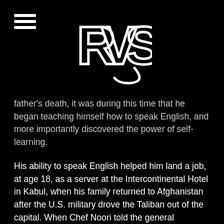RVS logo and hamburger menu
father's death, it was during this time that he began teaching himself how to speak English, and more importantly discovered the power of self-learning.

His ability to speak English helped him land a job, at age 18, as a server at the Intercontinental Hotel in Kabul, when his family returned to Afghanistan after the U.S. military drove the Taliban out of the capital. When Chef Noori told the general manager, Albert, that he wanted to work in the hotel's kitchen, Albert agreed but the restaurant's manager, Nadir, disapproved. He didn't want to lose his most energetic waiter. Chef Noori agreed to do both, balancing his responsibilities in the kitchen while still working as a server, making his long work days even longer. That launched Chef Noori into his culinary career. He learned everything on the job and never went to culinary school. (The secret to culinary school is...